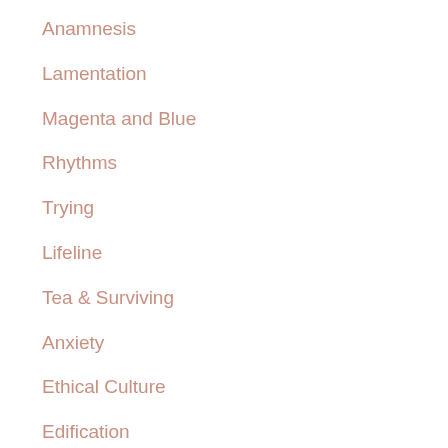Anamnesis
Lamentation
Magenta and Blue
Rhythms
Trying
Lifeline
Tea & Surviving
Anxiety
Ethical Culture
Edification
No-Makeup Selfie
Differential
Aunt Joyco